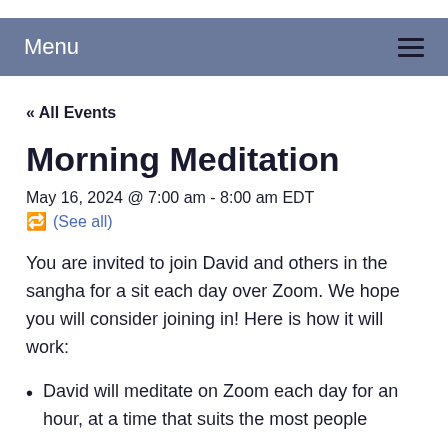Menu
« All Events
Morning Meditation
May 16, 2024 @ 7:00 am - 8:00 am EDT
(See all)
You are invited to join David and others in the sangha for a sit each day over Zoom. We hope you will consider joining in! Here is how it will work:
David will meditate on Zoom each day for an hour, at a time that suits the most people